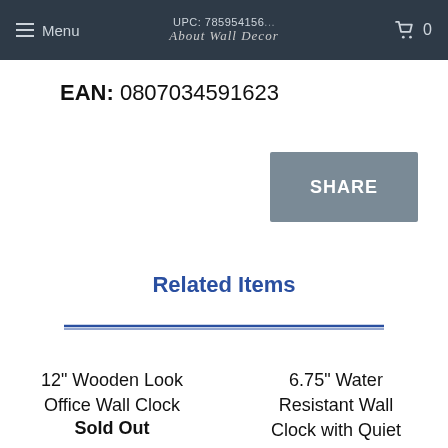Menu  UPC: 785954156...  About Wall Decor  0
EAN: 0807034591623
SHARE
Related Items
12" Wooden Look Office Wall Clock  Sold Out
6.75" Water Resistant Wall Clock with Quiet